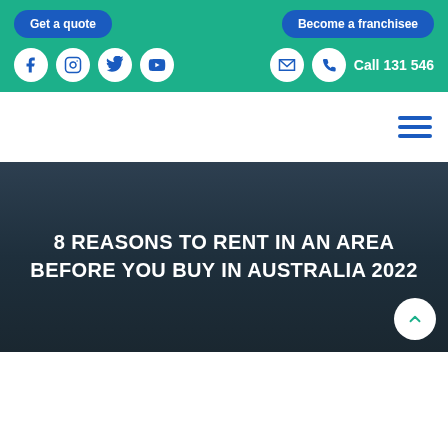Get a quote | Become a franchisee | Facebook | Instagram | Twitter | YouTube | Email | Call 131 546
[Figure (screenshot): Navigation hamburger menu icon (three horizontal blue lines) on white background]
8 REASONS TO RENT IN AN AREA BEFORE YOU BUY IN AUSTRALIA 2022